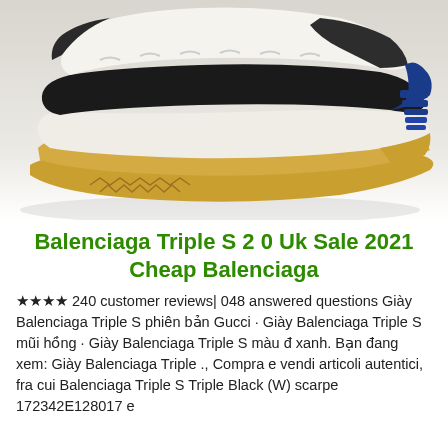[Figure (photo): Close-up photo of a Balenciaga Triple S sneaker showing the chunky multi-layered sole in white, black, navy blue, and mustard/tan colors against a white background.]
Balenciaga Triple S 2 0 Uk Sale 2021 Cheap Balenciaga
★★★★ 240 customer reviews| 048 answered questions Giày Balenciaga Triple S phiên bản Gucci · Giày Balenciaga Triple S mũi hồng · Giày Balenciaga Triple S màu đ xanh. Bạn đang xem: Giày Balenciaga Triple ., Compra e vendi articoli autentici, fra cui Balenciaga Triple S Triple Black (W) scarpe 172342E128017 e